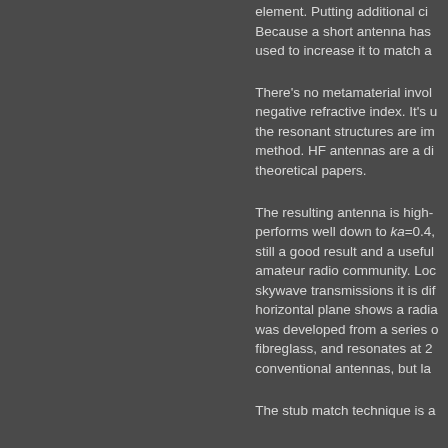element. Putting additional ci... Because a short antenna has used to increase it to match a
There's no metamaterial invol... negative refractive index. It's u the resonant structures are im method. HF antennas are a di theoretical papers.
The resulting antenna is high- performs well down to ka=0.4, still a good result and a useful amateur radio community. Lo skywave transmissions it is di horizontal plane shows a radia was developed from a series o fibreglass, and resonates at 2 conventional antennas, but la
The stub match technique is a